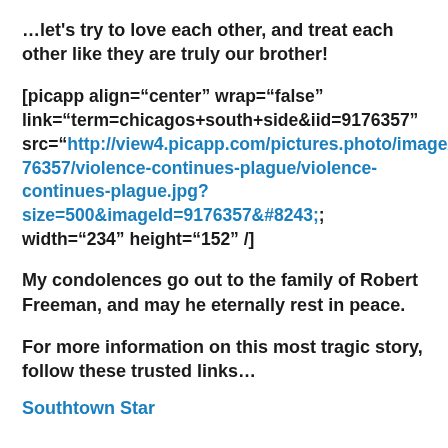…let's try to love each other, and treat each other like they are truly our brother!
[picapp align="center" wrap="false" link="term=chicagos+south+side&iid=9176357" src="http://view4.picapp.com/pictures.photo/image/9176357/violence-continues-plague/violence-continues-plague.jpg?size=500&imageId=9176357&#8243; width="234" height="152" /]
My condolences go out to the family of Robert Freeman, and may he eternally rest in peace.
For more information on this most tragic story, follow these trusted links…
Southtown Star